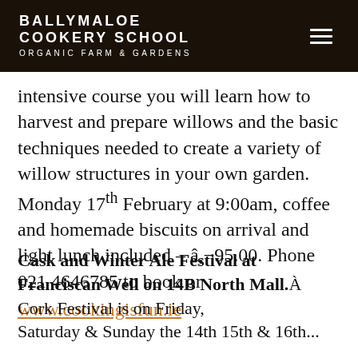BALLYMALOE COOKERY SCHOOL ORGANIC FARM & GARDENS
intensive course you will learn how to harvest and prepare willows and the basic techniques needed to create a variety of willow structures in your own garden. Monday 17th February at 9:00am, coffee and homemade biscuits on arrival and light lunch included – â,¬95.00. Phone 021 4646785 to book or
www.cookingisfun.ie
Cask and Winter Ale Festival at Franciscan Well on 14B North Mall. Cork Festival is on Friday, Saturday & Sunday the 14th 15th & 16th...